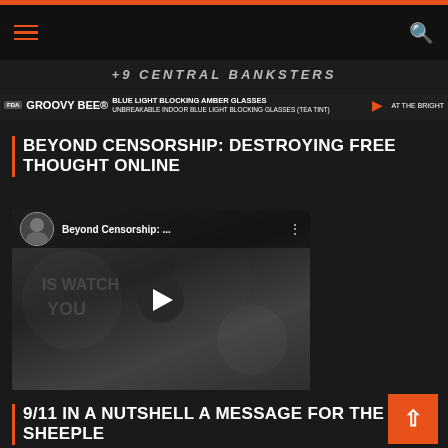Navigation bar with hamburger menu and search icon
[Figure (screenshot): Top image strip showing '+9 CENTRAL BANKSTERS' text overlay]
[Figure (screenshot): Advertisement banner: GROOVY BEE® - Blue Light Blocking Amber Glasses, Unbreakable Indoor Blue Light Blocking Glasses (Tea Tint) - AT THE BRIGHT]
BEYOND CENSORSHIP: DESTROYING FREE THOUGHT ONLINE
[Figure (screenshot): YouTube video embed: Beyond Censorship: ... - video thumbnail showing 'IS WATCH YOU' text with surveillance imagery, play button visible]
9/11 IN A NUTSHELL A MESSAGE FOR THE SHEEPLE
[Figure (screenshot): YouTube video embed: 9/11 In A Nutshell - video thumbnail showing a person, partially visible at bottom of page]